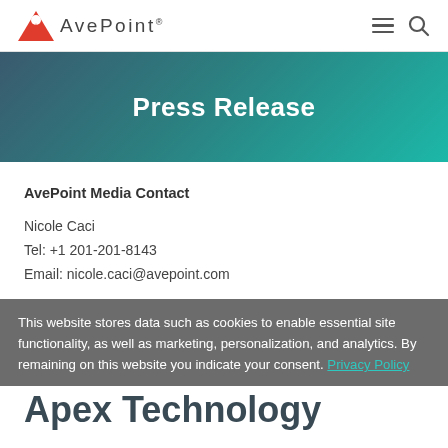[Figure (logo): AvePoint logo with red triangle/A icon and AvePoint text]
Press Release
AvePoint Media Contact
Nicole Caci
Tel: +1 201-201-8143
Email: nicole.caci@avepoint.com
This website stores data such as cookies to enable essential site functionality, as well as marketing, personalization, and analytics. By remaining on this website you indicate your consent. Privacy Policy
Apex Technology